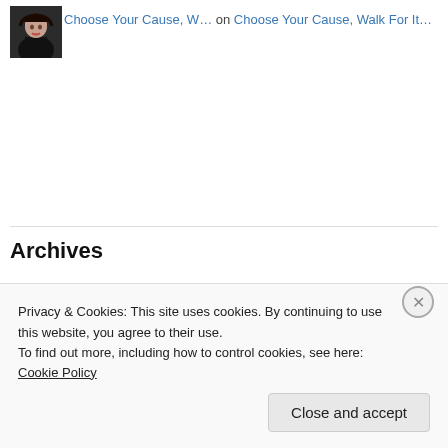[Figure (photo): Small avatar photo of a woman with dark hair, smiling, wearing a dark top]
Choose Your Cause, W… on Choose Your Cause, Walk For It…
Archives
October 2019
September 2019
March 2019
December 2018
October 2018
May 2018
Privacy & Cookies: This site uses cookies. By continuing to use this website, you agree to their use.
To find out more, including how to control cookies, see here: Cookie Policy
Close and accept